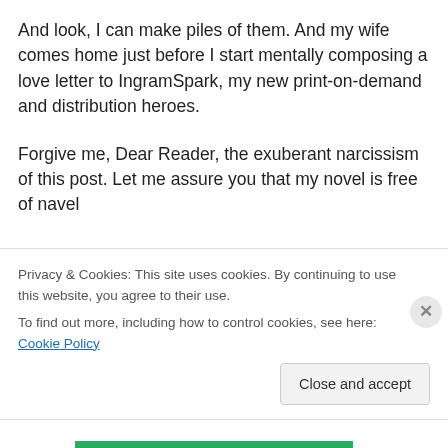And look, I can make piles of them. And my wife comes home just before I start mentally composing a love letter to IngramSpark, my new print-on-demand and distribution heroes.
Forgive me, Dear Reader, the exuberant narcissism of this post. Let me assure you that my novel is free of navel gazing and is to a degree a sociological and political life...
Privacy & Cookies: This site uses cookies. By continuing to use this website, you agree to their use.
To find out more, including how to control cookies, see here: Cookie Policy